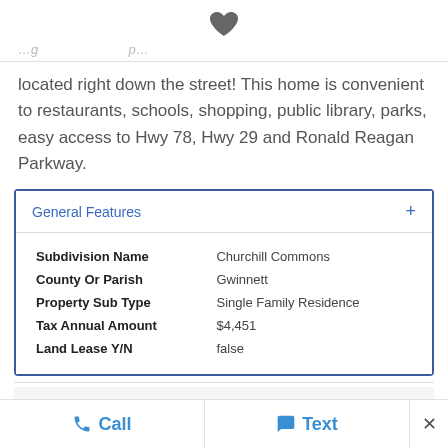[Figure (illustration): Heart/favorite icon centered at top of page]
located right down the street! This home is convenient to restaurants, schools, shopping, public library, parks, easy access to Hwy 78, Hwy 29 and Ronald Reagan Parkway.
General Features
| Property | Value |
| --- | --- |
| Subdivision Name | Churchill Commons |
| County Or Parish | Gwinnett |
| Property Sub Type | Single Family Residence |
| Tax Annual Amount | $4,451 |
| Land Lease Y/N | false |
Call   Text